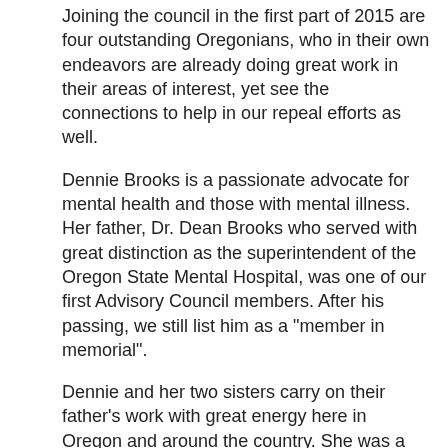Joining the council in the first part of 2015 are four outstanding Oregonians, who in their own endeavors are already doing great work in their areas of interest, yet see the connections to help in our repeal efforts as well.
Dennie Brooks is a passionate advocate for mental health and those with mental illness. Her father, Dr. Dean Brooks who served with great distinction as the superintendent of the Oregon State Mental Hospital, was one of our first Advisory Council members. After his passing, we still list him as a "member in memorial".
Dennie and her two sisters carry on their father's work with great energy here in Oregon and around the country. She was a key figure in the establishment of the Oregon State Mental Hospital Museum. She also works nationally to rectify what is known as the "criminalization of the mental health system". Dennie is an active member of St. Paul's Episcopal Church in Salem.